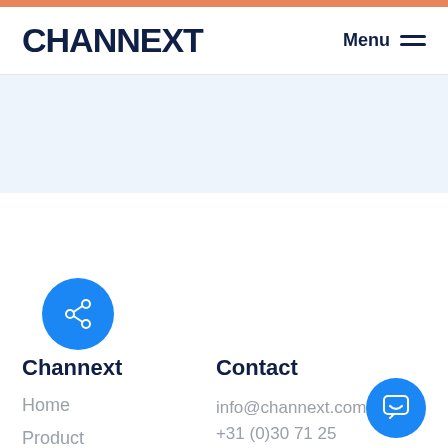CHANNEXT  Menu
[Figure (other): Light blue hero/banner area, empty]
[Figure (other): Blue circular share/social icon button]
Channext
Contact
Home
Product
About
Blog
Contact
info@channext.com
+31 (0)30 71 25 780
Vliegend Hertlaan 65-67
[Figure (other): Blue circular chat icon button, bottom right]